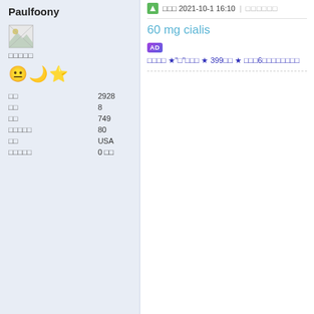Paulfoony
[Figure (illustration): Broken/placeholder avatar image icon]
□□□□□
😐🌙⭐ (emoji icons)
| □□ | 2928 |
| □□ | 8 |
| □□ | 749 |
| □□□□□ | 80 |
| □□ | USA |
| □□□□□ | 0 □□ |
□□□ 2021-10-1 16:10 | □□□□□□
60 mg cialis
AD □□□□ ★"□"□□□ ★ 399□□ ★ □□□6□□□□□□□□